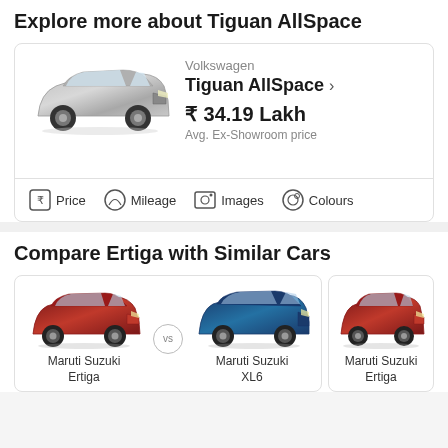Explore more about Tiguan AllSpace
[Figure (other): Volkswagen Tiguan AllSpace car image with price card showing ₹ 34.19 Lakh Avg. Ex-Showroom price, and navigation links for Price, Mileage, Images, Colours]
Compare Ertiga with Similar Cars
[Figure (other): Comparison card showing Maruti Suzuki Ertiga (red) vs Maruti Suzuki XL6 (blue)]
[Figure (other): Maruti Suzuki Ertiga (red) card, partially visible on right side]